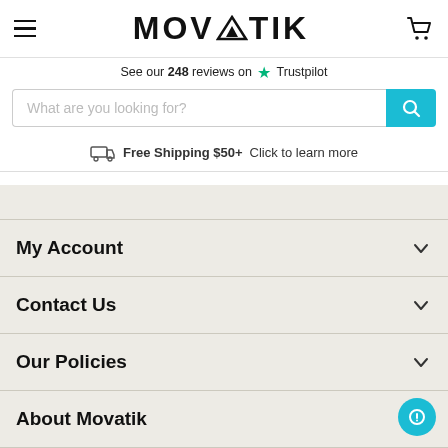[Figure (logo): MOVATIK logo with mountain triangle symbol, hamburger menu icon on left, shopping cart icon on right]
See our 248 reviews on ★ Trustpilot
What are you looking for?
🚚 Free Shipping $50+  Click to learn more
My Account
Contact Us
Our Policies
About Movatik